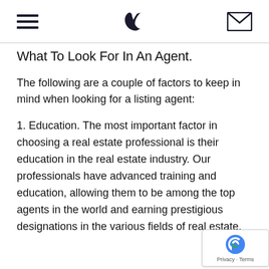≡ [phone icon] [envelope icon]
What To Look For In An Agent.
The following are a couple of factors to keep in mind when looking for a listing agent:
1. Education. The most important factor in choosing a real estate professional is their education in the real estate industry. Our professionals have advanced training and education, allowing them to be among the top agents in the world and earning prestigious designations in the various fields of real estate.